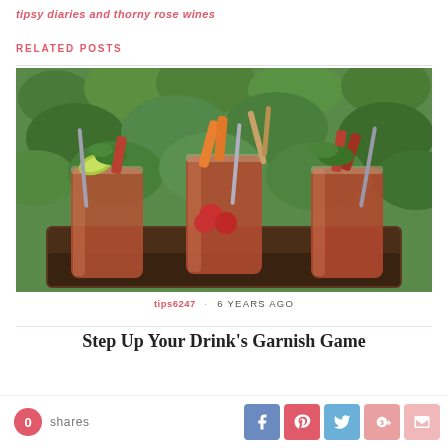tipsy diaries and thorny rose wines
RELATED POSTS
[Figure (photo): Three Bloody Mary cocktails garnished with vegetables, bacon, and straws on a wooden tray, set against a green leafy background.]
tips6247 · 6 YEARS AGO
Step Up Your Drink's Garnish Game
0 shares
[Figure (other): Social share buttons: Facebook, Pinterest, Twitter, Google+, Email]